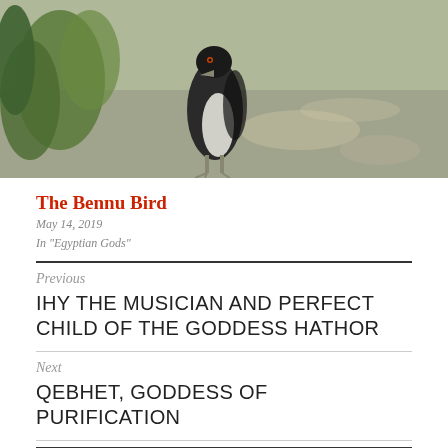[Figure (photo): A photo of a bird (Bennu Bird) standing on a rocky/natural ground with green plants in background. The bird has dark plumage on top and lighter coloring below.]
The Bennu Bird
May 14, 2019
In “Egyptian Gods”
Previous
IHY THE MUSICIAN AND PERFECT CHILD OF THE GODDESS HATHOR
Next
QEBHET, GODDESS OF PURIFICATION